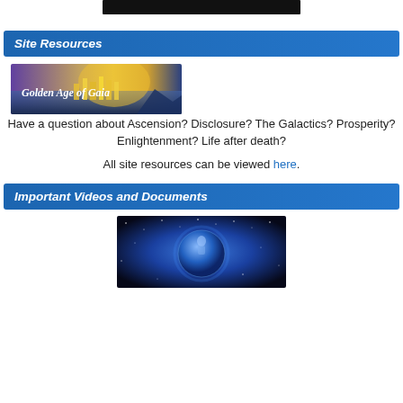[Figure (other): Black rectangular bar at top, partial image cropped]
Site Resources
[Figure (illustration): Golden Age of Gaia banner image with golden cityscape and purple sky]
Have a question about Ascension? Disclosure? The Galactics? Prosperity? Enlightenment? Life after death?
All site resources can be viewed here.
Important Videos and Documents
[Figure (photo): Blue cosmic space scene with glowing blue planet, star fields and nebula]